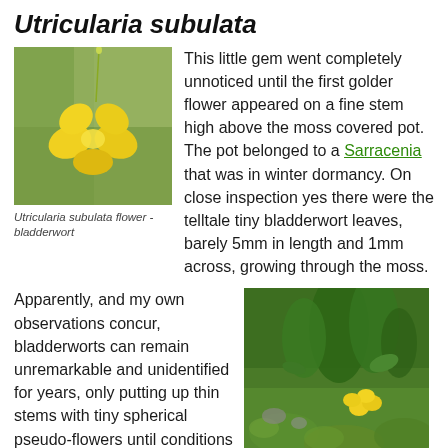Utricularia subulata
[Figure (photo): Close-up photo of a yellow Utricularia subulata flower against a green blurred background with a fine stem visible above]
Utricularia subulata flower - bladderwort
This little gem went completely unnoticed until the first golder flower appeared on a fine stem high above the moss covered pot. The pot belonged to a Sarracenia that was in winter dormancy. On close inspection yes there were the telltale tiny bladderwort leaves, barely 5mm in length and 1mm across, growing through the moss.
Apparently, and my own observations concur, bladderworts can remain unremarkable and unidentified for years, only putting up thin stems with tiny spherical pseudo-flowers until conditions are just "right". Then they produce a
[Figure (photo): Photo of Utricularia subulata growing in moss with a yellow flower visible and green surrounding plants]